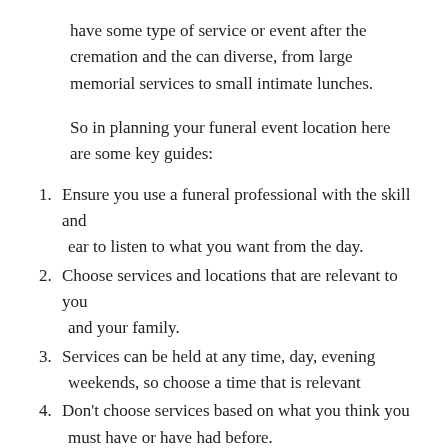have some type of service or event after the cremation and the can diverse, from large memorial services to small intimate lunches.
So in planning your funeral event location here are some key guides:
Ensure you use a funeral professional with the skill and ear to listen to what you want from the day.
Choose services and locations that are relevant to you and your family.
Services can be held at any time, day, evening weekends, so choose a time that is relevant
Don't choose services based on what you think you must have or have had before.
Keep in mind the number of mourners likely to attend
Robert Nelson is a fifth-generation funeral director and